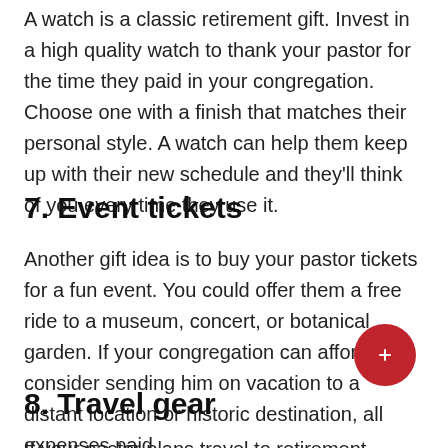A watch is a classic retirement gift. Invest in a high quality watch to thank your pastor for the time they paid in your congregation. Choose one with a finish that matches their personal style. A watch can help them keep up with their new schedule and they'll think of you every time they use it.
7. Event tickets
Another gift idea is to buy your pastor tickets for a fun event. You could offer them a free ride to a museum, concert, or botanical garden. If your congregation can afford it, consider sending him on vacation to a distant location or historic destination, all expenses paid.
8. Travel gear
If your pastor plans travel to retirement, stock up